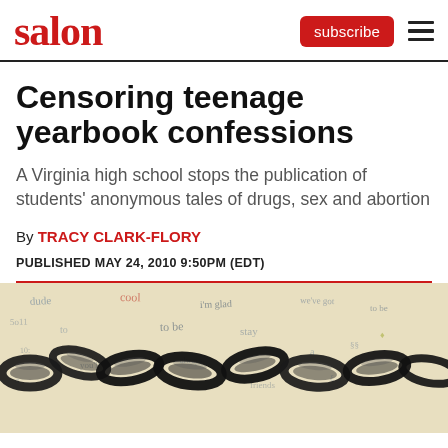salon
Censoring teenage yearbook confessions
A Virginia high school stops the publication of students' anonymous tales of drugs, sex and abortion
By TRACY CLARK-FLORY
PUBLISHED MAY 24, 2010 9:50PM (EDT)
[Figure (illustration): Decorative illustration showing a metal chain over a background of handwritten cursive text on aged paper, symbolizing censorship of yearbook confessions.]